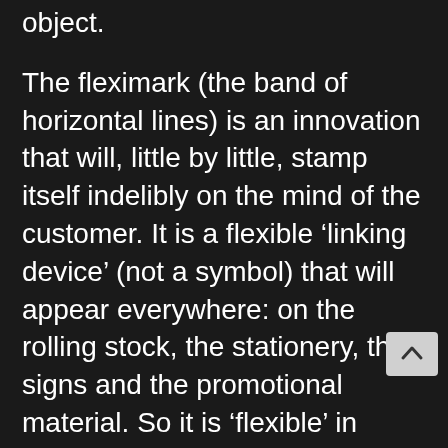object.
The fleximark (the band of horizontal lines) is an innovation that will, little by little, stamp itself indelibly on the mind of the customer. It is a flexible ‘linking device’ (not a symbol) that will appear everywhere: on the rolling stock, the stationery, the signs and the promotional material. So it is ‘flexible’ in terms of context, and in terms of size and position.
It is, however, deceptive. Like the Regional Railways logotype, it has to be reproduced with absolute accuracy, according to the